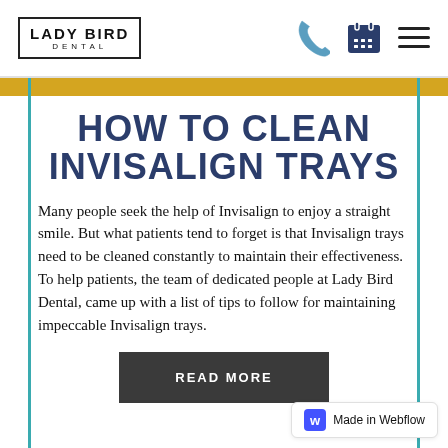LADY BIRD DENTAL
HOW TO CLEAN INVISALIGN TRAYS
Many people seek the help of Invisalign to enjoy a straight smile. But what patients tend to forget is that Invisalign trays need to be cleaned constantly to maintain their effectiveness. To help patients, the team of dedicated people at Lady Bird Dental, came up with a list of tips to follow for maintaining impeccable Invisalign trays.
READ MORE